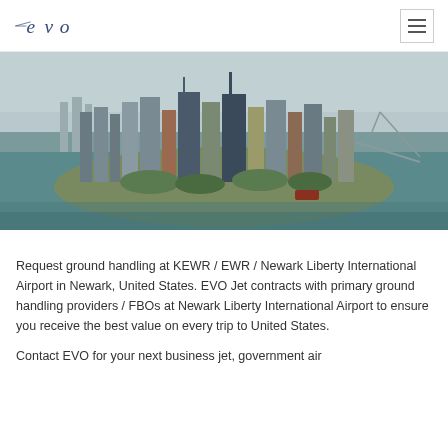EVO [logo] [hamburger menu]
[Figure (photo): Aerial photograph of Lower Manhattan / New York City skyline surrounded by water, showing dense skyscrapers with a bridge visible in the background]
Request ground handling at KEWR / EWR / Newark Liberty International Airport in Newark, United States. EVO Jet contracts with primary ground handling providers / FBOs at Newark Liberty International Airport to ensure you receive the best value on every trip to United States.
Contact EVO for your next business jet, government air